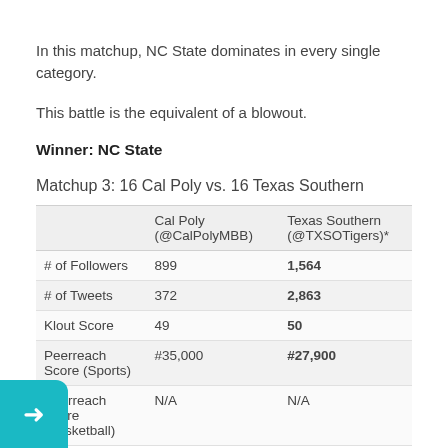In this matchup, NC State dominates in every single category.
This battle is the equivalent of a blowout.
Winner: NC State
Matchup 3: 16 Cal Poly vs. 16 Texas Southern
|  | Cal Poly (@CalPolyMBB) | Texas Southern (@TXSOTigers)* |
| --- | --- | --- |
| # of Followers | 899 | 1,564 |
| # of Tweets | 372 | 2,863 |
| Klout Score | 49 | 50 |
| Peerreach Score (Sports) | #35,000 | #27,900 |
| Peerreach Score (Basketball) | N/A | N/A |